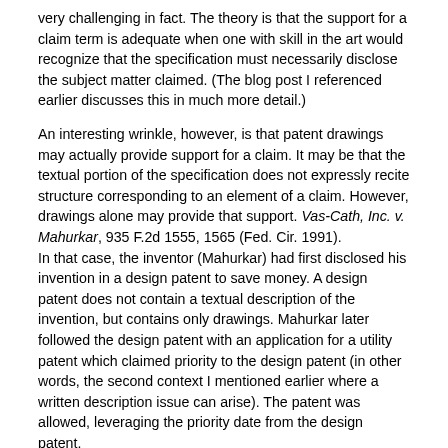very challenging in fact. The theory is that the support for a claim term is adequate when one with skill in the art would recognize that the specification must necessarily disclose the subject matter claimed. (The blog post I referenced earlier discusses this in much more detail.)
An interesting wrinkle, however, is that patent drawings may actually provide support for a claim. It may be that the textual portion of the specification does not expressly recite structure corresponding to an element of a claim. However, drawings alone may provide that support. Vas-Cath, Inc. v. Mahurkar, 935 F.2d 1555, 1565 (Fed. Cir. 1991).
In that case, the inventor (Mahurkar) had first disclosed his invention in a design patent to save money. A design patent does not contain a textual description of the invention, but contains only drawings. Mahurkar later followed the design patent with an application for a utility patent which claimed priority to the design patent (in other words, the second context I mentioned earlier where a written description issue can arise). The patent was allowed, leveraging the priority date from the design patent.
In a subsequent infringement suit, the alleged infringer challenged the validity of the patent on the basis that it wasn't entitled to the priority date of the design patent because the design patent did not adequately describe the invention ultimately claimed in the utility patent. The district court disagreed, finding a drawing alone could provide a sufficient written description. The Federal Circuit affirmed that holding. Id.
Consequently, Vas-Cath v. Mahurkar is best known among patent attorneys